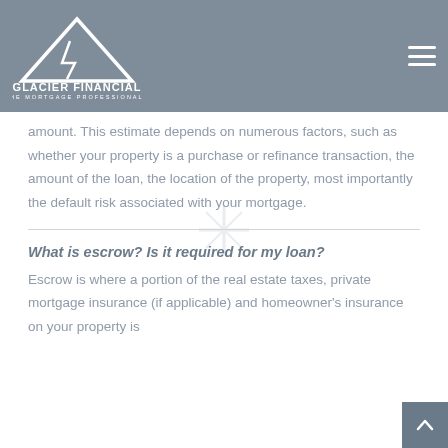[Figure (logo): Glacier Financial - The Mortgage Professionals logo, white mountain/lightning bolt graphic on grey background]
amount. This estimate depends on numerous factors, such as whether your property is a purchase or refinance transaction, the amount of the loan, the location of the property, most importantly the default risk associated with your mortgage.
What is escrow? Is it required for my loan?
Escrow is where a portion of the real estate taxes, private mortgage insurance (if applicable) and homeowner's insurance on your property is...